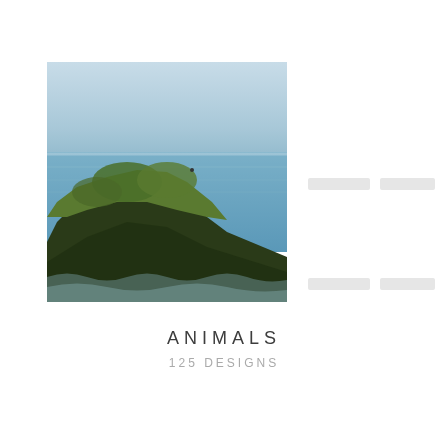[Figure (photo): Coastal cliff with green vegetation at the top, ocean and hazy sky in the background, waves visible at the base of the cliff]
ANIMALS
125 DESIGNS